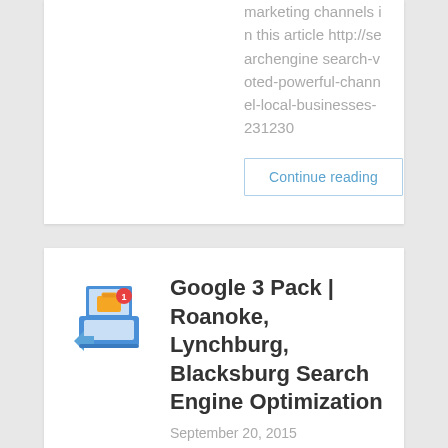marketing channels in this article http://searchengine search-voted-powerful-channel-local-businesses-231230
Continue reading
[Figure (illustration): Small icon showing a laptop with digital marketing elements]
Google 3 Pack | Roanoke, Lynchburg, Blacksburg Search Engine Optimization
September 20, 2015
This article discusses some things it consider about the change Google